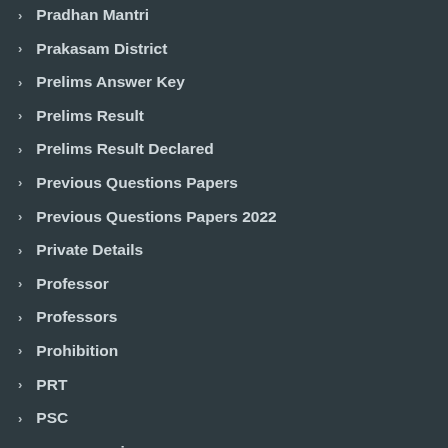Pradhan Mantri
Prakasam District
Prelims Answer Key
Prelims Result
Prelims Result Declared
Previous Questions Papers
Previous Questions Papers 2022
Private Details
Professor
Professors
Prohibition
PRT
PSC
psc.ap.gov.in